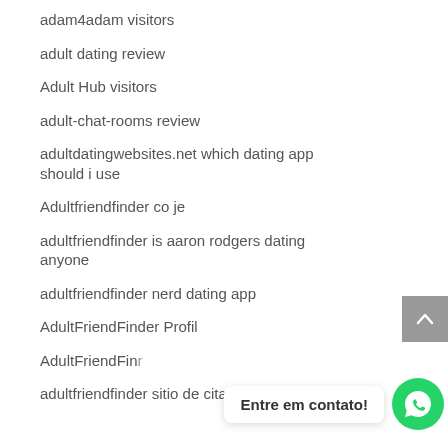adam4adam visitors
adult dating review
Adult Hub visitors
adult-chat-rooms review
adultdatingwebsites.net which dating app should i use
Adultfriendfinder co je
adultfriendfinder is aaron rodgers dating anyone
adultfriendfinder nerd dating app
AdultFriendFinder Profil
AdultFriendFin…
adultfriendfinder sitio de citas
Entre em contato!